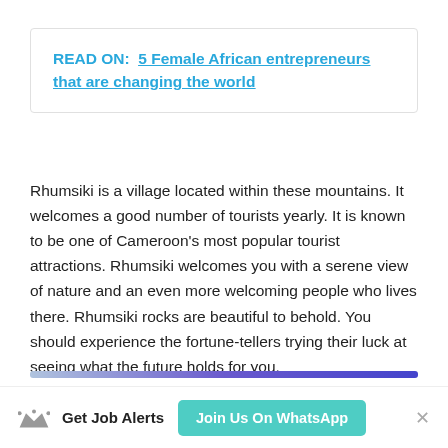READ ON:  5 Female African entrepreneurs that are changing the world
Rhumsiki is a village located within these mountains. It welcomes a good number of tourists yearly. It is known to be one of Cameroon's most popular tourist attractions. Rhumsiki welcomes you with a serene view of nature and an even more welcoming people who lives there. Rhumsiki rocks are beautiful to behold. You should experience the fortune-tellers trying their luck at seeing what the future holds for you.
[Figure (other): Gradient bar from light blue to purple]
Get Job Alerts  Join Us On WhatsApp  ×